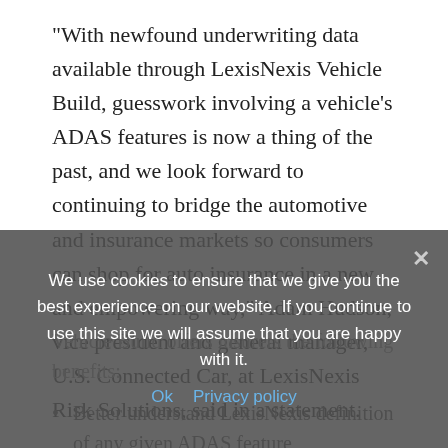“With newfound underwriting data available through LexisNexis Vehicle Build, guesswork involving a vehicle’s ADAS features is now a thing of the past, and we look forward to continuing to bridge the automotive and insurance markets so consumers can shop for auto insurance in a new and empowering way,” Adam Hudson, vice president and general manager, U.S. Connected Car, at LexisNexis Risk Solutions, said in a statement.
On its website, LexisNexis said that Vehicle Build offers insurers the following benefits:
Better understand LexisNexis definition of any given ADAS feature, the purpose of the feature and how it...
We use cookies to ensure that we give you the best experience on our website. If you continue to use this site we will assume that you are happy with it.